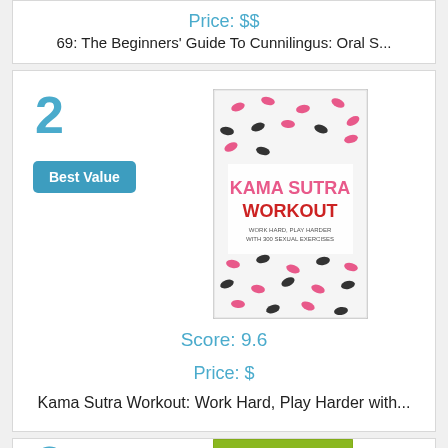Price: $$
69: The Beginners' Guide To Cunnilingus: Oral S...
2
Best Value
[Figure (photo): Book cover of Kama Sutra Workout with a white background covered in pink and black human silhouette figures in various poses, with the title in pink and red text]
Score: 9.6
Price: $
Kama Sutra Workout: Work Hard, Play Harder with...
3
[Figure (photo): Book cover of Passionista with a green background and a red chili pepper illustration]